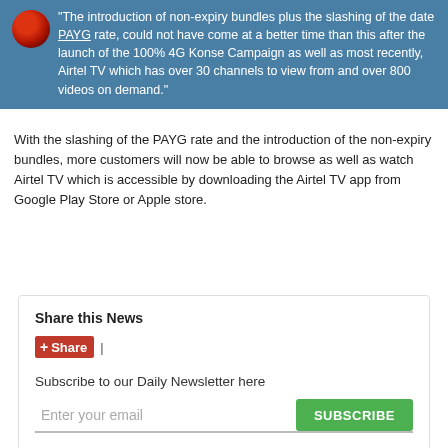"The introduction of non-expiry bundles plus the slashing of the date PAYG rate, could not have come at a better time than this after the launch of the 100% 4G Konse Campaign as well as most recently, Airtel TV which has over 30 channels to view from and over 800 videos on demand."
With the slashing of the PAYG rate and the introduction of the non-expiry bundles, more customers will now be able to browse as well as watch Airtel TV which is accessible by downloading the Airtel TV app from Google Play Store or Apple store.
Share this News
Share | Subscribe to our Daily Newsletter here Enter your email SUBSCRIBE